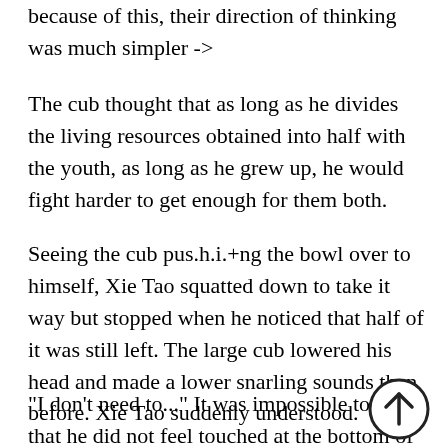because of this, their direction of thinking was much simpler ->
The cub thought that as long as he divides the living resources obtained into half with the youth, as long as he grew up, he would fight harder to get enough for them both.
Seeing the cub pus.h.i.+ng the bowl over to himself, Xie Tao squatted down to take it way but stopped when he noticed that half of it was still left. The large cub lowered his head and made a lower snarling sounds than before. Xie Tao suddenly understood.
"I don't need to..." It was impossible to say that he did not feel touched at the bottom of his heart. Xie Tao pushed the bowl back and then reached out to affectionately touch the